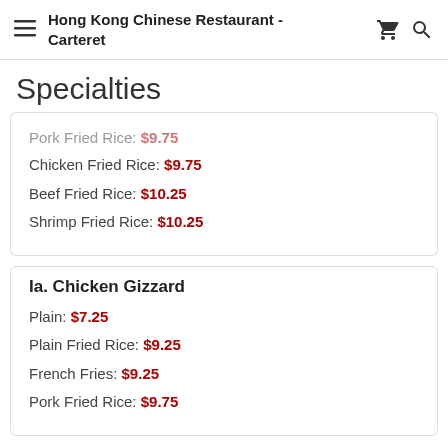Hong Kong Chinese Restaurant - Carteret
Specialties
Pork Fried Rice: $9.75
Chicken Fried Rice: $9.75
Beef Fried Rice: $10.25
Shrimp Fried Rice: $10.25
Ia. Chicken Gizzard
Plain: $7.25
Plain Fried Rice: $9.25
French Fries: $9.25
Pork Fried Rice: $9.75